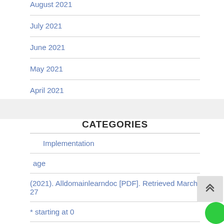August 2021
July 2021
June 2021
May 2021
April 2021
CATEGORIES
Implementation
age
(2021). Alldomainlearndoc [PDF]. Retrieved March 27
* starting at 0
& Ad…